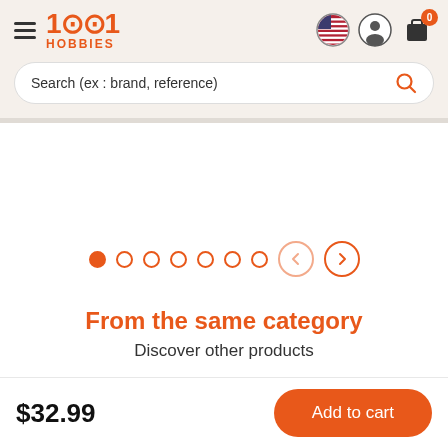[Figure (logo): 1001 Hobbies logo in orange with hamburger menu icon and navigation icons (flag, user, cart with 0 badge)]
Search (ex : brand, reference)
[Figure (infographic): Slideshow carousel dots (1 filled, 6 empty) and prev/next arrow navigation buttons]
From the same category
Discover other products
$32.99
Add to cart